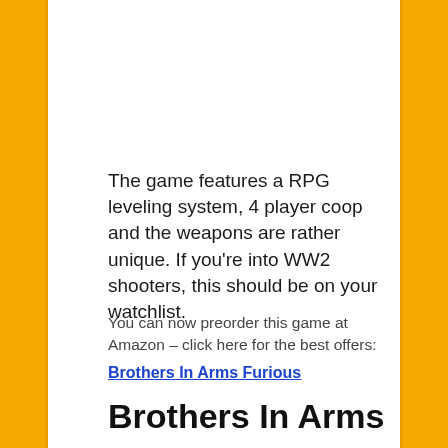The game features a RPG leveling system, 4 player coop and the weapons are rather unique. If you're into WW2 shooters, this should be on your watchlist.
You can now preorder this game at Amazon – click here for the best offers: Brothers In Arms Furious
Brothers In Arms